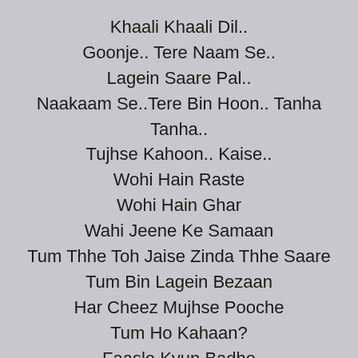Khaali Khaali Dil..
Goonje.. Tere Naam Se..
Lagein Saare Pal..
Naakaam Se..Tere Bin Hoon.. Tanha Tanha..
Tujhse Kahoon.. Kaise..
Wohi Hain Raste
Wohi Hain Ghar
Wahi Jeene Ke Samaan
Tum Thhe Toh Jaise Zinda Thhe Saare
Tum Bin Lagein Bezaan
Har Cheez Mujhse Pooche
Tum Ho Kahaan?
Faasle Kyun Badhe